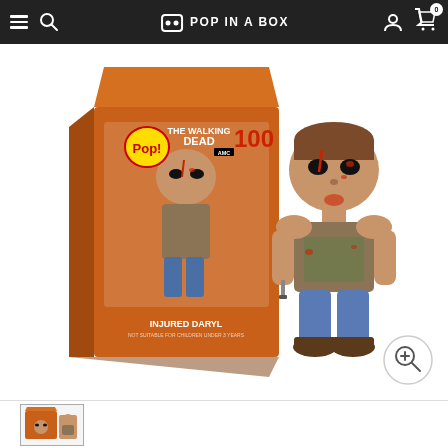Pop In A Box — navigation bar with menu, search, logo, user account, and cart (0 items)
[Figure (photo): Funko Pop! The Walking Dead #100 Injured Daryl vinyl figure shown next to its product box. The box features The Walking Dead branding with number 100. The figure shows Daryl Dixon with injuries/blood marks, shirtless with a vest, jeans, and brown boots, holding a knife.]
[Figure (photo): Thumbnail image of the Injured Daryl Funko Pop product, showing partial view of the box and figure.]